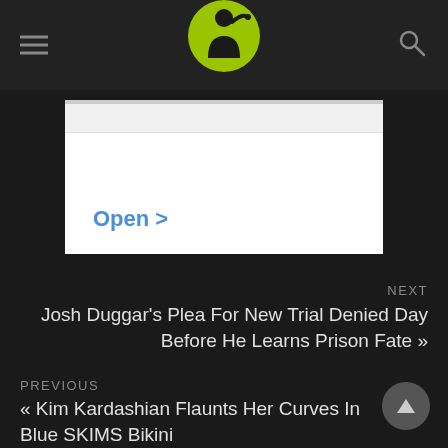[Figure (screenshot): Website advertisement banner with white background and blue 'Open >' link text]
NEXT
Josh Duggar's Plea For New Trial Denied Day Before He Learns Prison Fate »
PREVIOUS
« Kim Kardashian Flaunts Her Curves In Blue SKIMS Bikini